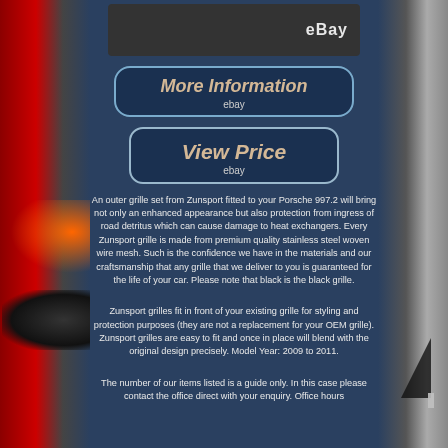[Figure (photo): eBay product listing image showing a car grille, dark background with eBay logo]
[Figure (other): More Information button with eBay subtitle, dark blue rounded rectangle with gold italic text]
[Figure (other): View Price button with eBay subtitle, dark blue rounded rectangle with gold italic text]
An outer grille set from Zunsport fitted to your Porsche 997.2 will bring not only an enhanced appearance but also protection from ingress of road detritus which can cause damage to heat exchangers. Every Zunsport grille is made from premium quality stainless steel woven wire mesh. Such is the confidence we have in the materials and our craftsmanship that any grille that we deliver to you is guaranteed for the life of your car. Please note that black is the black grille.
Zunsport grilles fit in front of your existing grille for styling and protection purposes (they are not a replacement for your OEM grille). Zunsport grilles are easy to fit and once in place will blend with the original design precisely. Model Year: 2009 to 2011.
The number of our items listed is a guide only. In this case please contact the office direct with your enquiry. Office hours